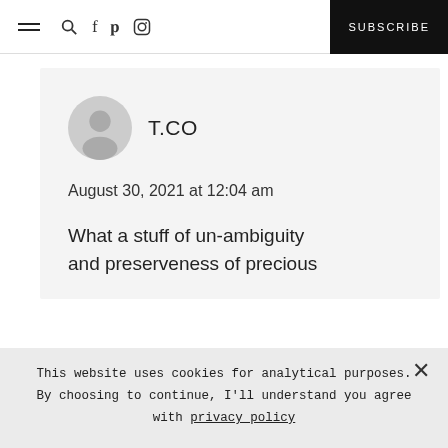≡ 🔍 f 𝗽 📷  SUBSCRIBE
T.CO
August 30, 2021 at 12:04 am
What a stuff of un-ambiguity and preserveness of precious
This website uses cookies for analytical purposes. By choosing to continue, I'll understand you agree with privacy policy